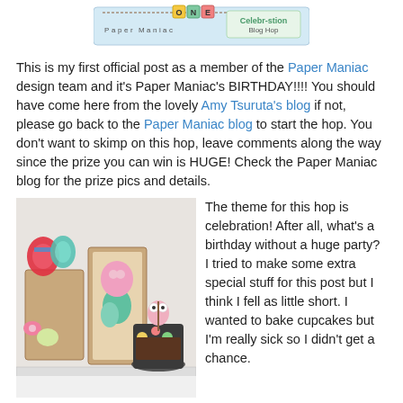[Figure (illustration): Paper Maniac One Year Celebration Blog Hop banner with colorful letter tiles]
This is my first official post as a member of the Paper Maniac design team and it's Paper Maniac's BIRTHDAY!!!! You should have come here from the lovely Amy Tsuruta's blog if not, please go back to the Paper Maniac blog to start the hop. You don't want to skimp on this hop, leave comments along the way since the prize you can win is HUGE! Check the Paper Maniac blog for the prize pics and details.
[Figure (photo): Photo of handmade celebration craft items including decorated cards and a flowerpot with an owl figure on top, arranged on a white surface]
The theme for this hop is celebration! After all, what's a birthday without a huge party? I tried to make some extra special stuff for this post but I think I fell as little short. I wanted to bake cupcakes but I'm really sick so I didn't get a chance. So, let's pretend the refrigerated brownie is a cupcake, ok?